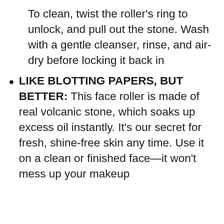To clean, twist the roller’s ring to unlock, and pull out the stone. Wash with a gentle cleanser, rinse, and air-dry before locking it back in
LIKE BLOTTING PAPERS, BUT BETTER: This face roller is made of real volcanic stone, which soaks up excess oil instantly. It’s our secret for fresh, shine-free skin any time. Use it on a clean or finished face—it won’t mess up your makeup